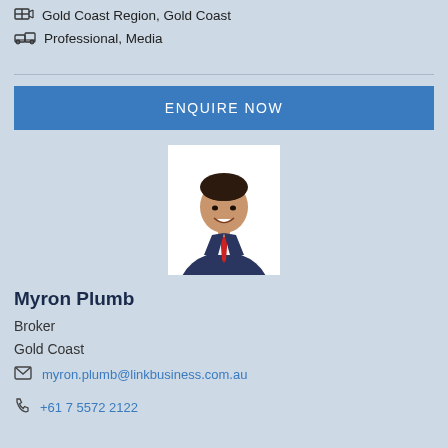Gold Coast Region, Gold Coast
Professional, Media
ENQUIRE NOW
[Figure (photo): Professional headshot of Myron Plumb, a man in a dark navy suit with a red tie, smiling, against a white background.]
Myron Plumb
Broker
Gold Coast
myron.plumb@linkbusiness.com.au
+61 7 5572 2122